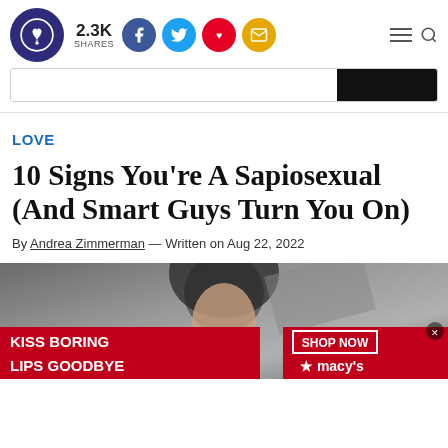2.3K SHARES
LOVE
10 Signs You're A Sapiosexual (And Smart Guys Turn You On)
By Andrea Zimmerman — Written on Aug 22, 2022
[Figure (photo): Advertisement banner: Kiss Boring Lips Goodbye - Macy's Shop Now, featuring a woman's face with red lipstick]